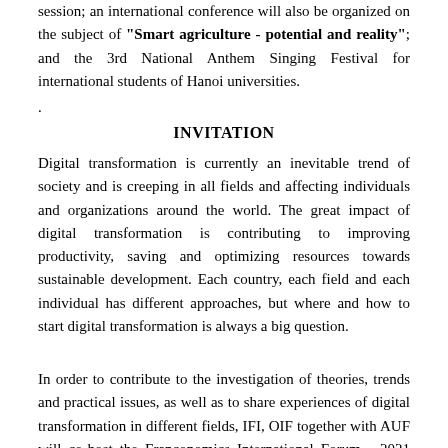session; an international conference will also be organized on the subject of "Smart agriculture - potential and reality"; and the 3rd National Anthem Singing Festival for international students of Hanoi universities.
.
INVITATION
Digital transformation is currently an inevitable trend of society and is creeping in all fields and affecting individuals and organizations around the world. The great impact of digital transformation is contributing to improving productivity, saving and optimizing resources towards sustainable development. Each country, each field and each individual has different approaches, but where and how to start digital transformation is always a big question.
In order to contribute to the investigation of theories, trends and practical issues, as well as to share experiences of digital transformation in different fields, IFI, OIF together with AUF will co-host the Franconomics International Forum - 2021 with the theme: "Digital transformation for sustainable development post Covid-19" on November 24